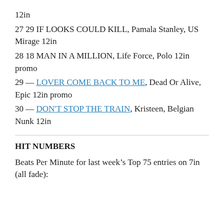12in
27 29 IF LOOKS COULD KILL, Pamala Stanley, US Mirage 12in
28 18 MAN IN A MILLION, Life Force, Polo 12in promo
29 — LOVER COME BACK TO ME, Dead Or Alive, Epic 12in promo
30 — DON'T STOP THE TRAIN, Kristeen, Belgian Nunk 12in
HIT NUMBERS
Beats Per Minute for last week's Top 75 entries on 7in (all fade):